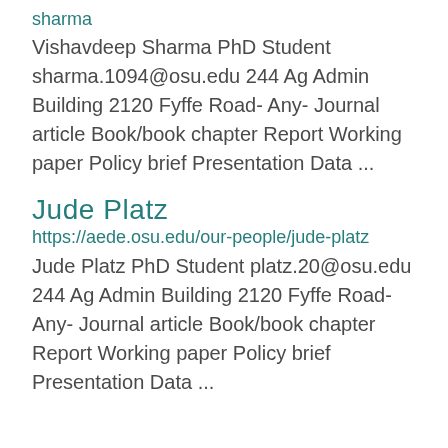sharma
Vishavdeep Sharma PhD Student sharma.1094@osu.edu 244 Ag Admin Building 2120 Fyffe Road- Any- Journal article Book/book chapter Report Working paper Policy brief Presentation Data ...
Jude Platz
https://aede.osu.edu/our-people/jude-platz
Jude Platz PhD Student platz.20@osu.edu 244 Ag Admin Building 2120 Fyffe Road- Any- Journal article Book/book chapter Report Working paper Policy brief Presentation Data ...